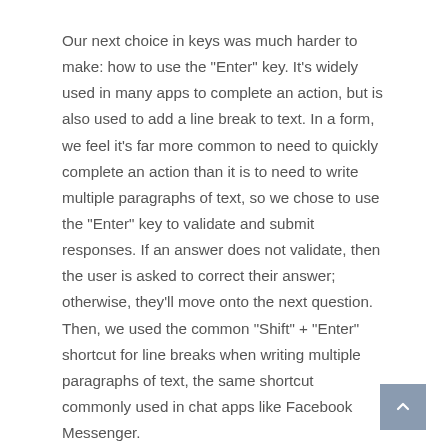Our next choice in keys was much harder to make: how to use the "Enter" key. It's widely used in many apps to complete an action, but is also used to add a line break to text. In a form, we feel it's far more common to need to quickly complete an action than it is to need to write multiple paragraphs of text, so we chose to use the "Enter" key to validate and submit responses. If an answer does not validate, then the user is asked to correct their answer; otherwise, they'll move onto the next question. Then, we used the common "Shift" + "Enter" shortcut for line breaks when writing multiple paragraphs of text, the same shortcut commonly used in chat apps like Facebook Messenger.